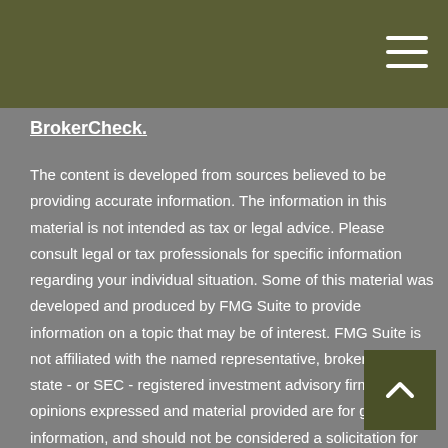BrokerCheck.
The content is developed from sources believed to be providing accurate information. The information in this material is not intended as tax or legal advice. Please consult legal or tax professionals for specific information regarding your individual situation. Some of this material was developed and produced by FMG Suite to provide information on a topic that may be of interest. FMG Suite is not affiliated with the named representative, broker - dealer, state - or SEC - registered investment advisory firm. The opinions expressed and material provided are for general information, and should not be considered a solicitation for the purchase or sale of any security.